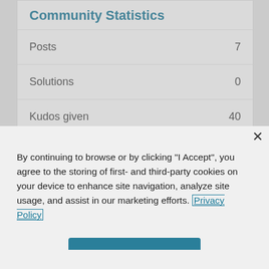Community Statistics
Posts 7
Solutions 0
Kudos given 40
× (close button)
By continuing to browse or by clicking "I Accept", you agree to the storing of first- and third-party cookies on your device to enhance site navigation, analyze site usage, and assist in our marketing efforts. Privacy Policy
I Accept
Cookies Settings